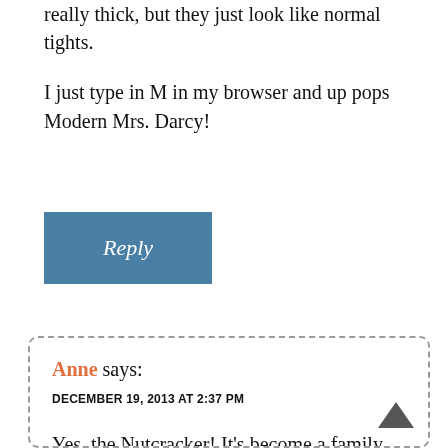really thick, but they just look like normal tights.
I just type in M in my browser and up pops Modern Mrs. Darcy!
Reply
Anne says:
DECEMBER 19, 2013 AT 2:37 PM
Yes, the Nutcracker! It's become a family tradit on
And I like the maroon idea. ☒
I can't read the label on my tights! I'll see who made them next time I'm in Nordstrom Rack.